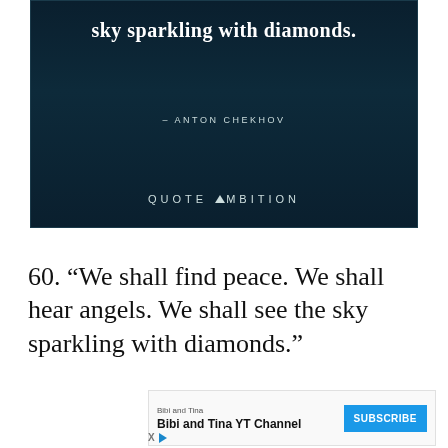[Figure (illustration): Dark teal/navy background image with white text showing a partial quote 'sky sparkling with diamonds.' and attribution '– ANTON CHEKHOV', with 'QUOTE AMBITION' branding at the bottom.]
60. “We shall find peace. We shall hear angels. We shall see the sky sparkling with diamonds.”
[Figure (other): Advertisement banner for 'Bibi and Tina YT Channel' with a SUBSCRIBE button in blue.]